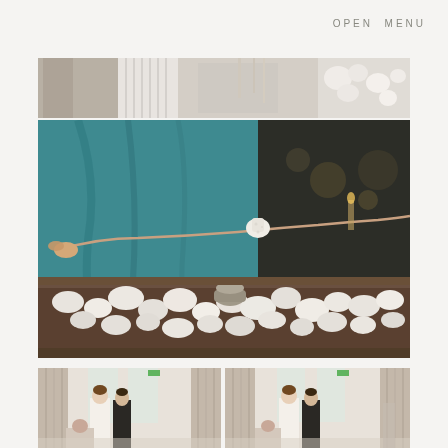OPEN MENU
[Figure (photo): Top strip: partial view of people at a wedding reception table with flowers and decorations]
[Figure (photo): Large main photo: close-up of a person in a teal/turquoise garment roasting a marshmallow over a fire pit filled with white pebble stones at a wedding venue]
[Figure (photo): Bottom left: wedding couple (bride in white dress and groom in dark suit) entering a reception room with curtains]
[Figure (photo): Bottom right: same wedding couple entering a reception room with curtains, slightly different angle]